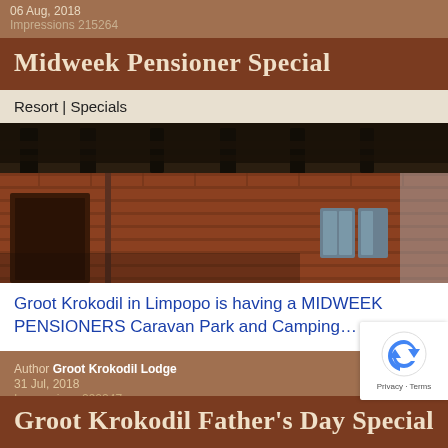06 Aug, 2018
Impressions 215264
Midweek Pensioner Special
Resort | Specials
[Figure (photo): Photo of a brick building exterior with dark roof beams and small window openings, taken at an angle]
Groot Krokodil in Limpopo is having a MIDWEEK PENSIONERS Caravan Park and Camping…
Author Groot Krokodil Lodge
31 Jul, 2018
Impressions 290247
Groot Krokodil Father's Day Special